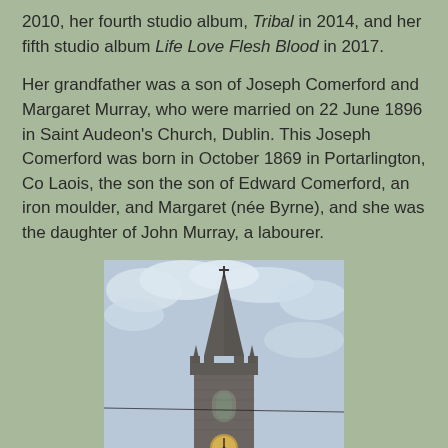2010, her fourth studio album, Tribal in 2014, and her fifth studio album Life Love Flesh Blood in 2017.
Her grandfather was a son of Joseph Comerford and Margaret Murray, who were married on 22 June 1896 in Saint Audeon's Church, Dublin. This Joseph Comerford was born in October 1869 in Portarlington, Co Laois, the son the son of Edward Comerford, an iron moulder, and Margaret (née Byrne), and she was the daughter of John Murray, a labourer.
[Figure (photo): A photograph of a stone church steeple with a cross at the top, set against a cloudy sky. The tower has Gothic architectural features including pointed arches and decorative pinnacles.]